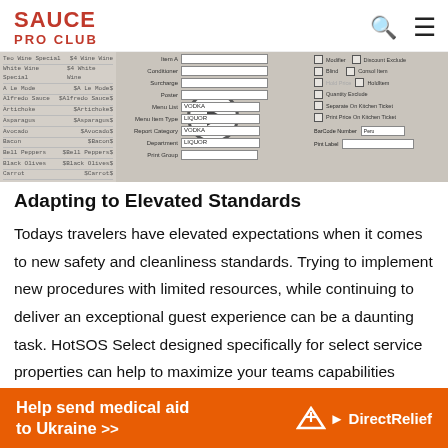SAUCE PRO CLUB
[Figure (screenshot): Screenshot of a restaurant POS software interface showing menu item list on left and form fields with checkboxes on right, overlaid with a video play button]
Adapting to Elevated Standards
Todays travelers have elevated expectations when it comes to new safety and cleanliness standards. Trying to implement new procedures with limited resources, while continuing to deliver an exceptional guest experience can be a daunting task. HotSOS Select designed specifically for select service properties can help to maximize your teams capabilities while
[Figure (infographic): Orange advertisement banner for Direct Relief: 'Help send medical aid to Ukraine >>' with Direct Relief logo]